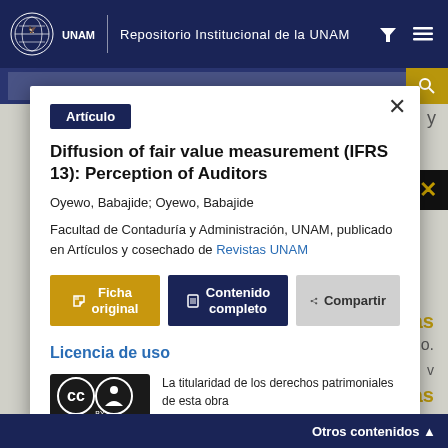Repositorio Institucional de la UNAM
Artículo
Diffusion of fair value measurement (IFRS 13): Perception of Auditors
Oyewo, Babajide; Oyewo, Babajide
Facultad de Contaduría y Administración, UNAM, publicado en Artículos y cosechado de Revistas UNAM
Ficha original | Contenido completo | Compartir
Licencia de uso
La titularidad de los derechos patrimoniales de esta obra
Otros contenidos